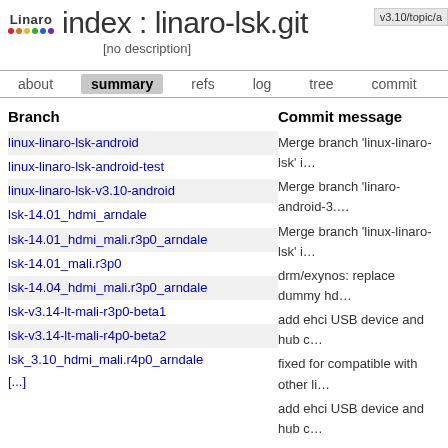index : linaro-lsk.git  v3.10/topic/a
[no description]
about  summary  refs  log  tree  commit  diff
| Branch | Commit message |
| --- | --- |
| linux-linaro-lsk-android | Merge branch 'linux-linaro-lsk' i… |
| linux-linaro-lsk-android-test | Merge branch 'linaro-android-3.… |
| linux-linaro-lsk-v3.10-android | Merge branch 'linux-linaro-lsk' i… |
| lsk-14.01_hdmi_arndale | drm/exynos: replace dummy hd… |
| lsk-14.01_hdmi_mali.r3p0_arndale | add ehci USB device and hub c… |
| lsk-14.01_mali.r3p0 | fixed for compatible with other li… |
| lsk-14.04_hdmi_mali.r3p0_arndale | add ehci USB device and hub c… |
| lsk-v3.14-lt-mali-r3p0-beta1 | Mali T6xx fixed for exynos 5420… |
| lsk-v3.14-lt-mali-r4p0-beta2 | mali r4p0: adjust the mali r4p0 c… |
| lsk_3.10_hdmi_mali.r4p0_arndale | Mali: update mali driver to r4p0… |
| [...] |  |
| Tag | Download |
| --- | --- |
| lsk-14.01 | linaro-lsk-lsk-14.01.tar.gz |
| lsk-android-14.01 | linaro-lsk-lsk-android-14.01.tar.g… |
| lsk-android-13.12 | linaro-lsk-lsk-android-13.12.tar.g… |